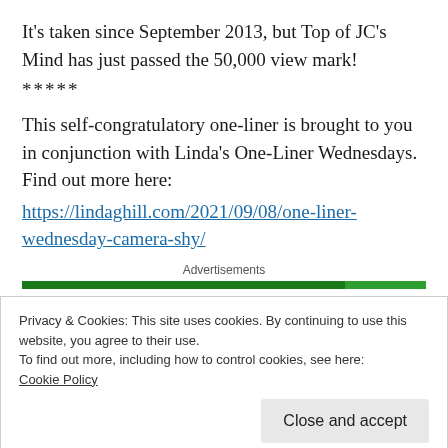It's taken since September 2013, but Top of JC's Mind has just passed the 50,000 view mark!
*****
This self-congratulatory one-liner is brought to you in conjunction with Linda's One-Liner Wednesdays. Find out more here:
https://lindaghill.com/2021/09/08/one-liner-wednesday-camera-shy/
Advertisements
Privacy & Cookies: This site uses cookies. By continuing to use this website, you agree to their use.
To find out more, including how to control cookies, see here: Cookie Policy
Close and accept
WordPress site